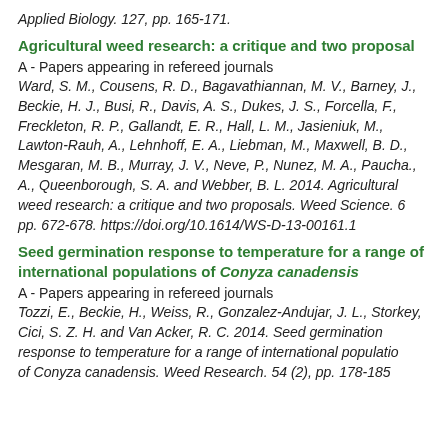Applied Biology. 127, pp. 165-171.
Agricultural weed research: a critique and two proposal
A - Papers appearing in refereed journals
Ward, S. M., Cousens, R. D., Bagavathiannan, M. V., Barney, J., Beckie, H. J., Busi, R., Davis, A. S., Dukes, J. S., Forcella, F., Freckleton, R. P., Gallandt, E. R., Hall, L. M., Jasieniuk, M., Lawton-Rauh, A., Lehnhoff, E. A., Liebman, M., Maxwell, B. D., Mesgaran, M. B., Murray, J. V., Neve, P., Nunez, M. A., Paucha., A., Queenborough, S. A. and Webber, B. L. 2014. Agricultural weed research: a critique and two proposals. Weed Science. 6 pp. 672-678. https://doi.org/10.1614/WS-D-13-00161.1
Seed germination response to temperature for a range of international populations of Conyza canadensis
A - Papers appearing in refereed journals
Tozzi, E., Beckie, H., Weiss, R., Gonzalez-Andujar, J. L., Storkey, Cici, S. Z. H. and Van Acker, R. C. 2014. Seed germination response to temperature for a range of international populations of Conyza canadensis. Weed Research. 54 (2), pp. 178-185.